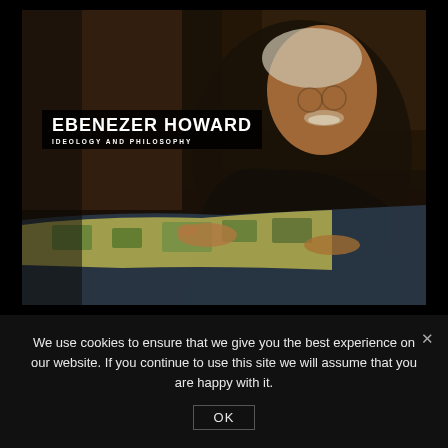[Figure (photo): Oil painting portrait of Ebenezer Howard, an elderly man with white hair and moustache, seated at a table examining maps or plans. Dark background, warm tones. Overlay text in black box reads 'EBENEZER HOWARD' and 'IDEOLOGY AND PHILOSOPHY'.]
We use cookies to ensure that we give you the best experience on our website. If you continue to use this site we will assume that you are happy with it.
OK